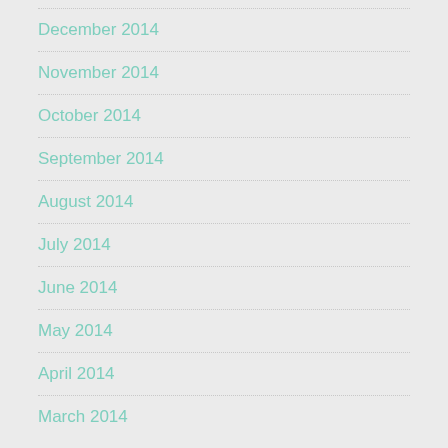December 2014
November 2014
October 2014
September 2014
August 2014
July 2014
June 2014
May 2014
April 2014
March 2014